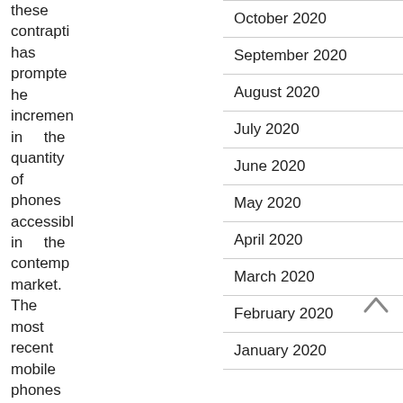these contrapti has prompte he incremen in the quantity of phones accessibl in the contemp market. The most recent mobile phones
October 2020
September 2020
August 2020
July 2020
June 2020
May 2020
April 2020
March 2020
February 2020
January 2020